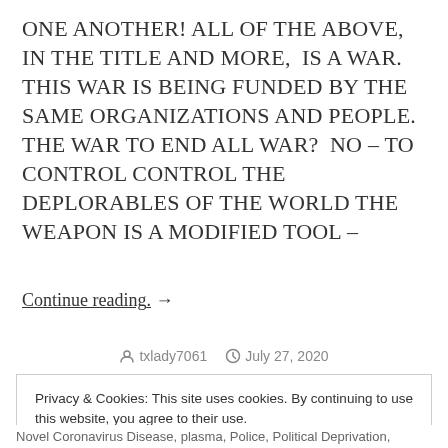ONE ANOTHER! ALL OF THE ABOVE, IN THE TITLE AND MORE, IS A WAR. THIS WAR IS BEING FUNDED BY THE SAME ORGANIZATIONS AND PEOPLE. THE WAR TO END ALL WAR? NO – TO CONTROL CONTROL THE DEPLORABLES OF THE WORLD THE WEAPON IS A MODIFIED TOOL –
Continue reading. →
txlady7061  July 27, 2020
Privacy & Cookies: This site uses cookies. By continuing to use this website, you agree to their use.
To find out more, including how to control cookies, see here: Cookie Policy
[Close and accept]
Novel Coronavirus Disease, plasma, Police, Political Deprivation,